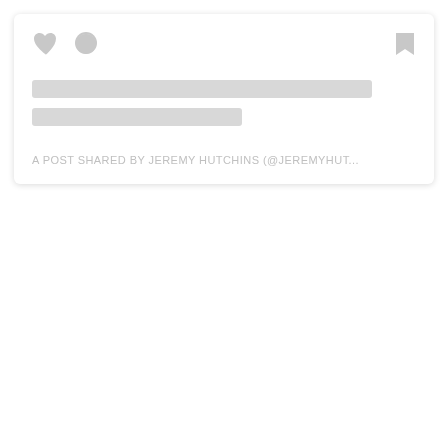[Figure (screenshot): Social media post card placeholder with heart icon, comment icon, bookmark icon, two gray placeholder bars for text, and a caption reading 'A POST SHARED BY JEREMY HUTCHINS (@JEREMYHUT...']